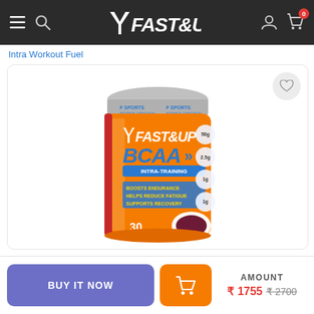FAST&UP
Intra Workout Fuel
[Figure (photo): Fast&Up BCAA Intra-Training supplement container, orange, 30 servings. Labels: Boosts Endurance, Helps Reduce Fatigue, Supports Recovery.]
BUY IT NOW
AMOUNT ₹ 1755 ₹ 2700